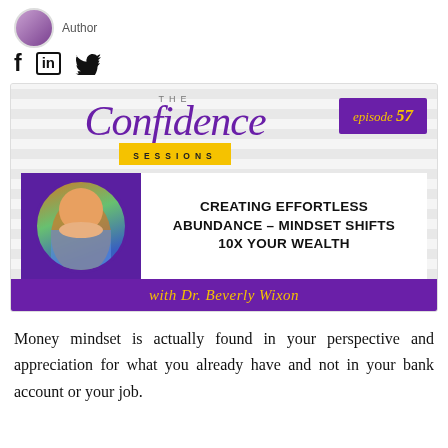Author
[Figure (screenshot): Social media icons: Facebook (f), LinkedIn (in), Twitter bird]
[Figure (illustration): The Confidence Sessions podcast episode 57 card — Creating Effortless Abundance - Mindset Shifts 10X Your Wealth, with Dr. Beverly Wixon]
Money mindset is actually found in your perspective and appreciation for what you already have and not in your bank account or your job.